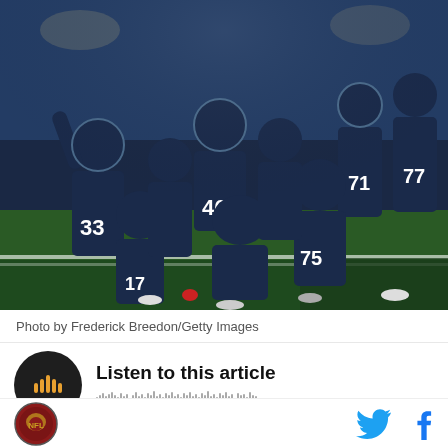[Figure (photo): Tennessee Titans football players celebrating in the end zone at night, wearing dark navy blue uniforms with numbers 33, 46, 17, 75, 71, 77 visible, in a packed NFL stadium]
Photo by Frederick Breedon/Getty Images
Listen to this article
[Figure (infographic): Audio player widget with dark circular play button showing orange/amber sound bars icon, and audio waveform visualization below]
[Figure (logo): Circular sports publication logo at bottom left]
[Figure (infographic): Twitter bird icon and Facebook f icon social sharing buttons at bottom right]